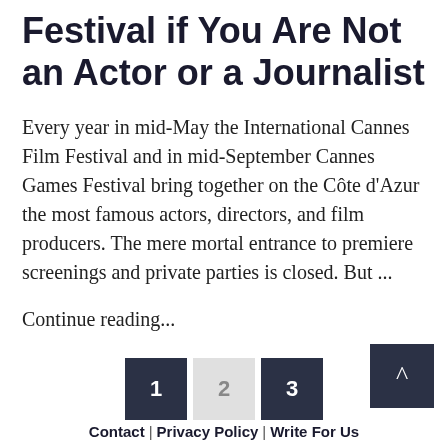Festival if You Are Not an Actor or a Journalist
Every year in mid-May the International Cannes Film Festival and in mid-September Cannes Games Festival bring together on the Côte d'Azur the most famous actors, directors, and film producers. The mere mortal entrance to premiere screenings and private parties is closed. But ...
Continue reading...
1
2
3
Contact | Privacy Policy | Write For Us